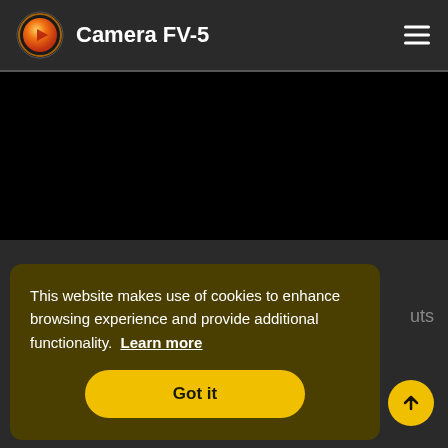Camera FV-5
[Figure (screenshot): Black video/image area below header]
This website makes use of cookies to enhance browsing experience and provide additional functionality. Learn more
Got it
Pages
Support